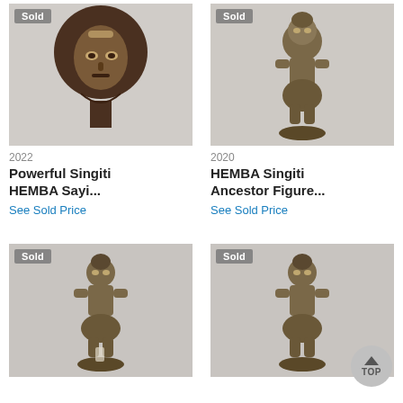[Figure (photo): African Hemba figurine sculpture with large circular hairstyle, dark wood, labeled Sold]
2022
Powerful Singiti HEMBA Sayi...
See Sold Price
[Figure (photo): African Hemba ancestor figure sculpture, standing pose, dark wood, labeled Sold]
2020
HEMBA Singiti Ancestor Figure...
See Sold Price
[Figure (photo): African Hemba figure sculpture, standing, dark wood, labeled Sold]
[Figure (photo): African Hemba figure sculpture, standing, dark wood, labeled Sold]